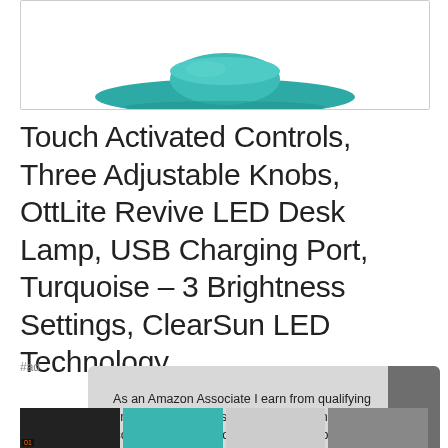[Figure (photo): Product image of turquoise OttLite Revive LED Desk Lamp, showing the base of the lamp in turquoise color, partially cropped at top.]
Touch Activated Controls, Three Adjustable Knobs, OttLite Revive LED Desk Lamp, USB Charging Port, Turquoise – 3 Brightness Settings, ClearSun LED Technology
#ad
As an Amazon Associate I earn from qualifying purchases. This website uses the only necessary cookies to ensure you get the best experience on our website. More information
[Figure (photo): Thumbnail strip showing partial product images at the bottom of the page.]